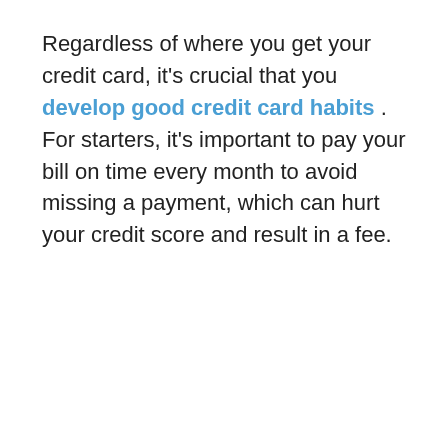Regardless of where you get your credit card, it's crucial that you develop good credit card habits . For starters, it's important to pay your bill on time every month to avoid missing a payment, which can hurt your credit score and result in a fee.